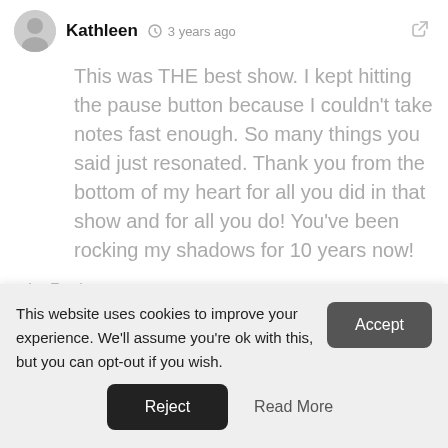Kathleen · 3 years ago
This was THE best show. I kept hitting the pause button because I couldn't take notes fast enough. So many things you said just resonated. Thank you from the bottom of my heart for all you did in that show and for all you do! You've been rocking my shadows for 10 years now!
Reply
This website uses cookies to improve your experience. We'll assume you're ok with this, but you can opt-out if you wish.
Accept
Reject
Read More